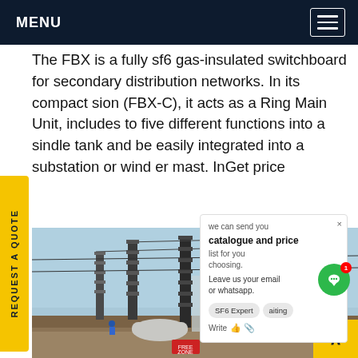MENU
The FBX is a fully sf6 gas-insulated switchboard for secondary distribution networks. In its compact sion (FBX-C), it acts as a Ring Main Unit, includes to five different functions into a single tank and be easily integrated into a substation or wind er mast. InGet price
[Figure (photo): Electrical substation construction site with tall insulators, SF6 equipment, workers in hard hats, and overhead lines under a blue sky.]